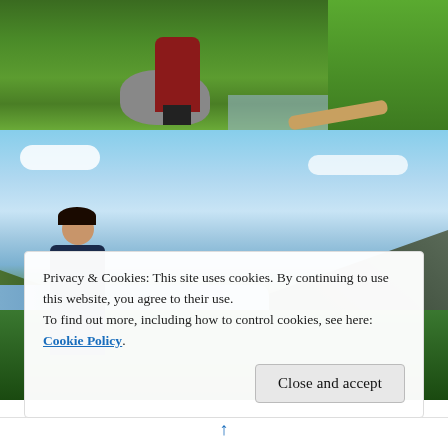[Figure (photo): Top portion: Person in red flannel sitting on a rock in a green grassy/marshy outdoor setting with trees and water in the background.]
[Figure (photo): Main scenic overlook photo: Person smiling at camera with panoramic view of Columbia River Gorge behind them — steep forested canyon walls, river, bright blue sky with clouds.]
Privacy & Cookies: This site uses cookies. By continuing to use this website, you agree to their use.
To find out more, including how to control cookies, see here: Cookie Policy
Close and accept